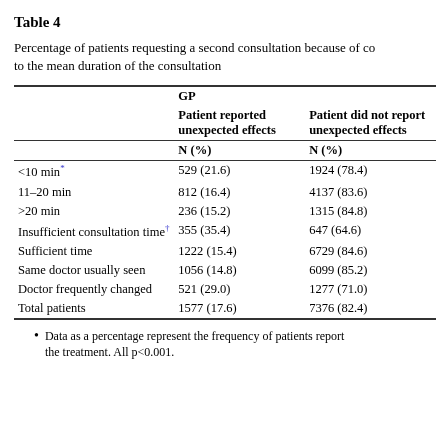Table 4
Percentage of patients requesting a second consultation because of complaints related to the mean duration of the consultation
|  | GP Patient reported unexpected effects N (%) | Patient did not report unexpected effects N (%) |
| --- | --- | --- |
| <10 min* | 529 (21.6) | 1924 (78.4) |
| 11–20 min | 812 (16.4) | 4137 (83.6) |
| >20 min | 236 (15.2) | 1315 (84.8) |
| Insufficient consultation time† | 355 (35.4) | 647 (64.6) |
| Sufficient time | 1222 (15.4) | 6729 (84.6) |
| Same doctor usually seen | 1056 (14.8) | 6099 (85.2) |
| Doctor frequently changed | 521 (29.0) | 1277 (71.0) |
| Total patients | 1577 (17.6) | 7376 (82.4) |
Data as a percentage represent the frequency of patients reporting unexpected effects of the treatment. All p<0.001.